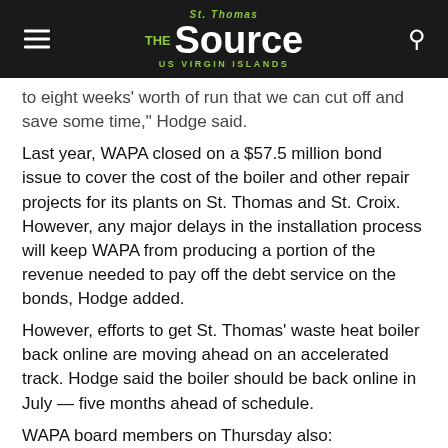The St. Thomas Source — US Virgin Islands
to eight weeks' worth of run that we can cut off and save some time," Hodge said.
Last year, WAPA closed on a $57.5 million bond issue to cover the cost of the boiler and other repair projects for its plants on St. Thomas and St. Croix. However, any major delays in the installation process will keep WAPA from producing a portion of the revenue needed to pay off the debt service on the bonds, Hodge added.
However, efforts to get St. Thomas' waste heat boiler back online are moving ahead on an accelerated track. Hodge said the boiler should be back online in July — five months ahead of schedule.
WAPA board members on Thursday also:
— approved a $30,000 contract with Buck Consultants LLC to explore the option of having WAPA join the V.I. government's health insurance plan (board members said Thursday that